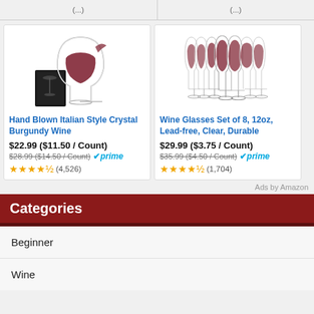[Figure (screenshot): Top bar with partial product info cut off]
[Figure (photo): Hand Blown Italian Style Crystal Burgundy Wine glass product photo with box]
Hand Blown Italian Style Crystal Burgundy Wine
$22.99 ($11.50 / Count)
$28.99 ($14.50 / Count)
(4,526)
[Figure (photo): Wine Glasses Set of 8 product photo showing 8 red wine glasses lined up]
Wine Glasses Set of 8, 12oz, Lead-free, Clear, Durable
$29.99 ($3.75 / Count)
$35.99 ($4.50 / Count)
(1,704)
Ads by Amazon
Categories
Beginner
Wine